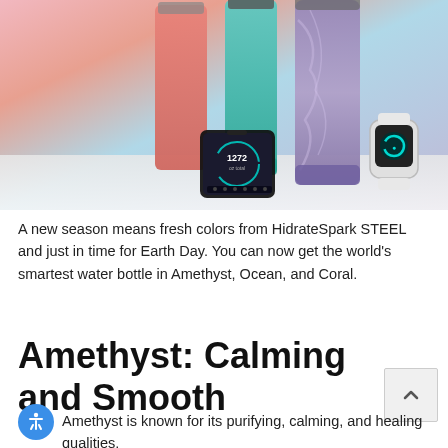[Figure (photo): Product photo showing HidrateSpark STEEL smart water bottles in Amethyst, Ocean, and Coral colors alongside a smartphone displaying a hydration tracking app and an Apple Watch, on a pastel gradient background]
A new season means fresh colors from HidrateSpark STEEL and just in time for Earth Day. You can now get the world's smartest water bottle in Amethyst, Ocean, and Coral.
Amethyst: Calming and Smooth
Amethyst is known for its purifying, calming, and healing qualities,